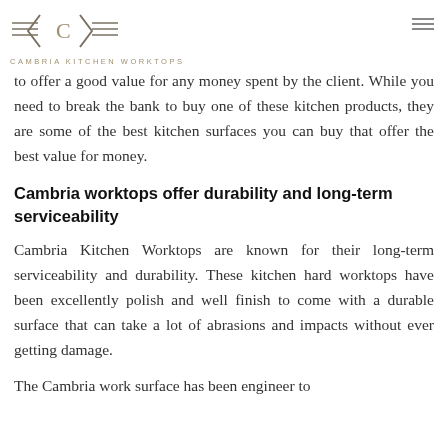CAMBRIA KITCHEN WORKTOPS
to offer a good value for any money spent by the client. While you need to break the bank to buy one of these kitchen products, they are some of the best kitchen surfaces you can buy that offer the best value for money.
Cambria worktops offer durability and long-term serviceability
Cambria Kitchen Worktops are known for their long-term serviceability and durability. These kitchen hard worktops have been excellently polish and well finish to come with a durable surface that can take a lot of abrasions and impacts without ever getting damage.
The Cambria work surface has been engineer to